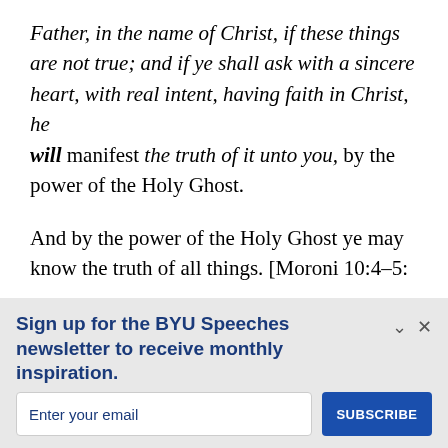Father, in the name of Christ, if these things are not true; and if ye shall ask with a sincere heart, with real intent, having faith in Christ, he will manifest the truth of it unto you, by the power of the Holy Ghost.
And by the power of the Holy Ghost ye may know the truth of all things. [Moroni 10:4–5:
Sign up for the BYU Speeches newsletter to receive monthly inspiration.
A little hope in your inbox.
Enter your email
SUBSCRIBE